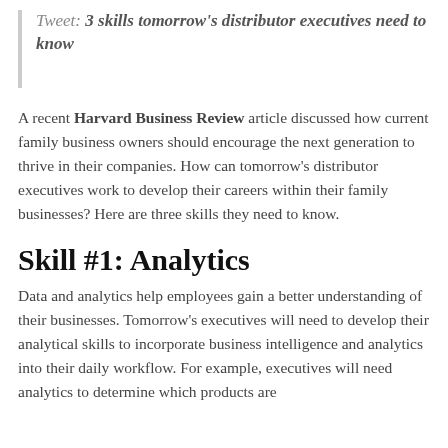Tweet: 3 skills tomorrow's distributor executives need to know
A recent Harvard Business Review article discussed how current family business owners should encourage the next generation to thrive in their companies. How can tomorrow's distributor executives work to develop their careers within their family businesses? Here are three skills they need to know.
Skill #1: Analytics
Data and analytics help employees gain a better understanding of their businesses. Tomorrow's executives will need to develop their analytical skills to incorporate business intelligence and analytics into their daily workflow. For example, executives will need analytics to determine which products are